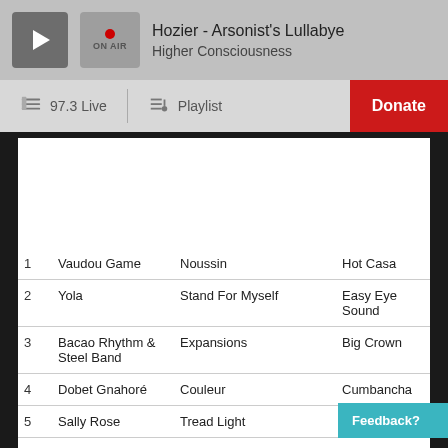Hozier - Arsonist's Lullabye
Higher Consciousness
97.3 Live
Playlist
Donate
| # | Artist | Album | Label |
| --- | --- | --- | --- |
| 1 | Vaudou Game | Noussin | Hot Casa |
| 2 | Yola | Stand For Myself | Easy Eye Sound |
| 3 | Bacao Rhythm & Steel Band | Expansions | Big Crown |
| 4 | Dobet Gnahoré | Couleur | Cumbancha |
| 5 | Sally Rose | Tread Light | self-released |
| 6 | Prabir Trio | Haanji | self-released |
| 7 | Hotspit | CC – EP | self-re... |
| 8 | Wednesday | Twin Plagues | Orindal |
Feedback?